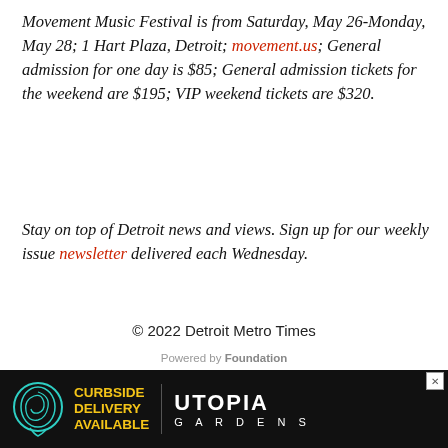Movement Music Festival is from Saturday, May 26-Monday, May 28; 1 Hart Plaza, Detroit; movement.us; General admission for one day is $85; General admission tickets for the weekend are $195; VIP weekend tickets are $320.
Stay on top of Detroit news and views. Sign up for our weekly issue newsletter delivered each Wednesday.
© 2022 Detroit Metro Times
Powered by Foundation
[Figure (other): Advertisement banner for Utopia Gardens: black background with teal spiral/head logo on left, yellow bold text 'CURBSIDE DELIVERY AVAILABLE', white text 'UTOPIA GARDENS' on right, close button top-right corner.]